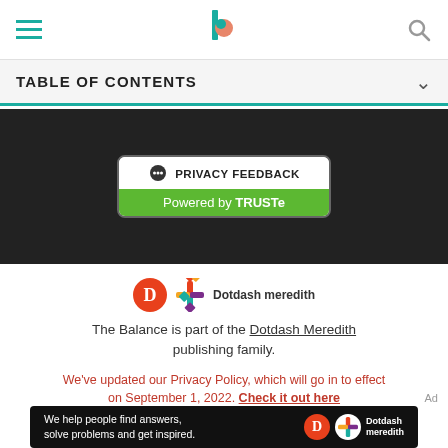Navigation bar with hamburger menu, The Balance logo, and search icon
TABLE OF CONTENTS
[Figure (screenshot): Privacy Feedback badge with TRUSTe branding on dark background]
[Figure (logo): Dotdash Meredith logo]
The Balance is part of the Dotdash Meredith publishing family.
We've updated our Privacy Policy, which will go in to effect on September 1, 2022. Check it out here
[Figure (screenshot): Ad banner: We help people find answers, solve problems and get inspired. Dotdash meredith]